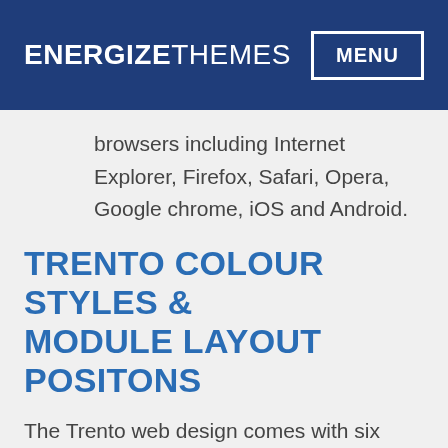ENERGIZETHEMES  MENU
browsers including Internet Explorer, Firefox, Safari, Opera, Google chrome, iOS and Android.
TRENTO COLOUR STYLES & MODULE LAYOUT POSITONS
The Trento web design comes with six unique colour theme styles for you to choose from as show in the screen shots below. You can also create your own unique colour style using the powerful,  user friendly built-in customization tool.